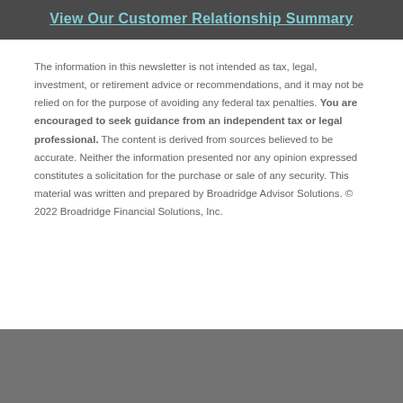View Our Customer Relationship Summary
The information in this newsletter is not intended as tax, legal, investment, or retirement advice or recommendations, and it may not be relied on for the purpose of avoiding any federal tax penalties. You are encouraged to seek guidance from an independent tax or legal professional. The content is derived from sources believed to be accurate. Neither the information presented nor any opinion expressed constitutes a solicitation for the purchase or sale of any security. This material was written and prepared by Broadridge Advisor Solutions. © 2022 Broadridge Financial Solutions, Inc.